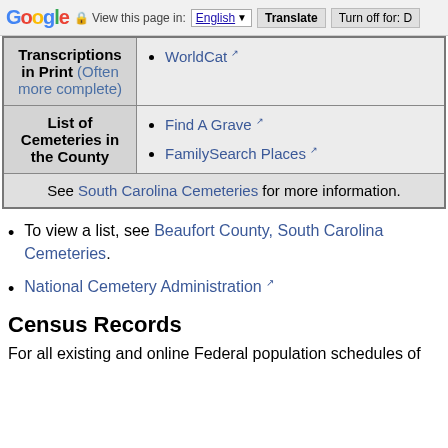Google | View this page in: English | Translate | Turn off for: D
| Transcriptions in Print (Often more complete) | WorldCat ↗ |
| List of Cemeteries in the County | Find A Grave ↗
FamilySearch Places ↗ |
| See South Carolina Cemeteries for more information. |  |
To view a list, see Beaufort County, South Carolina Cemeteries.
National Cemetery Administration ↗
Census Records
For all existing and online Federal population schedules of